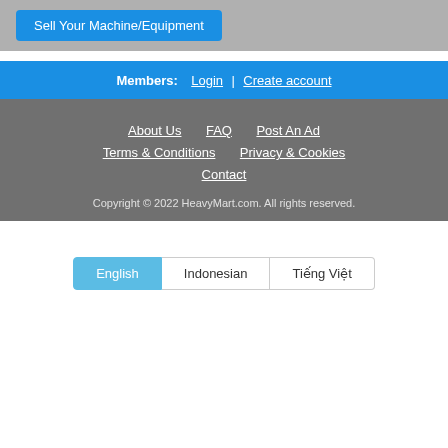Sell Your Machine/Equipment
Members: Login | Create account
About Us
FAQ
Post An Ad
Terms & Conditions
Privacy & Cookies
Contact
Copyright © 2022 HeavyMart.com. All rights reserved.
English | Indonesian | Tiếng Việt